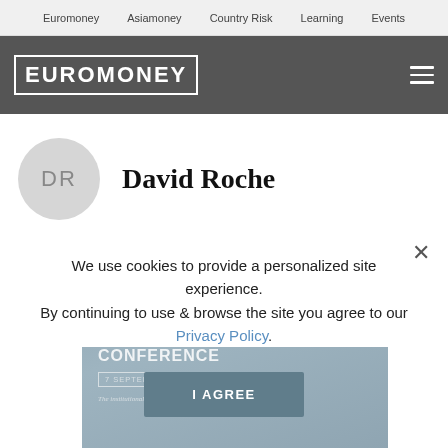Euromoney   Asiamoney   Country Risk   Learning   Events
[Figure (logo): Euromoney logo in white block lettering on dark grey header bar with hamburger menu icon on the right]
David Roche
[Figure (photo): Grey avatar circle with initials DR]
[Figure (photo): THE EUROMONEY SAUDI ARABIA CONFERENCE event banner with date 7 SEPTEMBER and subtitle The institutionalisation of Investment and Finance]
We use cookies to provide a personalized site experience.
By continuing to use & browse the site you agree to our Privacy Policy.
I AGREE